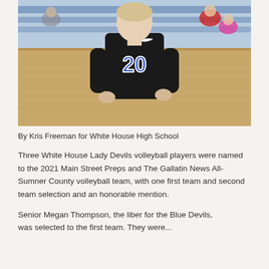[Figure (photo): A volleyball player wearing a black Nike jersey with the number 20 in blue, standing on a gymnasium court. The player appears to be a female athlete. Spectators are visible in the background seated in blue bleachers.]
By Kris Freeman for White House High School
Three White House Lady Devils volleyball players were named to the 2021 Main Street Preps and The Gallatin News All-Sumner County volleyball team, with one first team and second team selection and an honorable mention.
Senior Megan Thompson, the liber for the Blue Devils, was selected to the first team. They were...